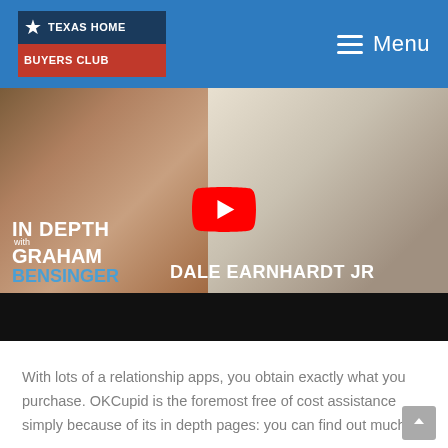Texas Home Buyers Club — Menu
[Figure (screenshot): YouTube video thumbnail showing two people in a panel discussion. Show title reads 'IN DEPTH with GRAHAM BENSINGER' featuring 'DALE EARNHARDT JR'. A YouTube play button is centered on the image. Bottom portion is dark/black.]
With lots of a relationship apps, you obtain exactly what you purchase. OKCupid is the foremost free of cost assistance simply because of its in depth pages: you can find out much